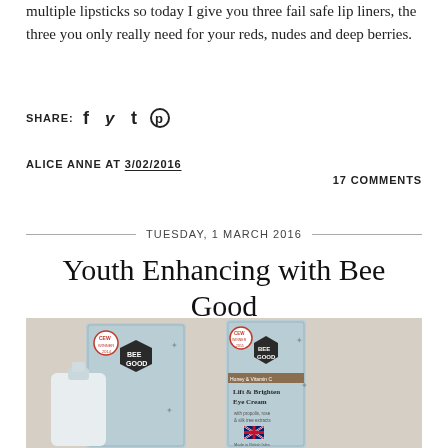multiple lipsticks so today I give you three fail safe lip liners, the three you only really need for your reds, nudes and deep berries.
SHARE: f t p
ALICE ANNE AT 3/02/2016
17 COMMENTS
TUESDAY, 1 MARCH 2016
Youth Enhancing with Bee Good
[Figure (photo): Photo of two Bee Good skincare product boxes on a textured surface. One shows a bottle and box, the other shows a 'Lift & Brighten Eye Cream' box with bee imagery and UK flag.]